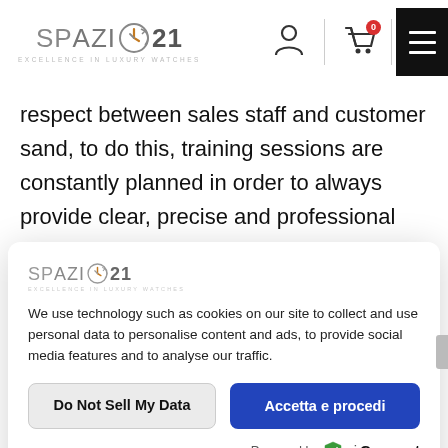[Figure (logo): Spazio21 Excellence in Luxury Watches logo in header]
respect between sales staff and customer sand, to do this, training sessions are constantly planned in order to always provide clear, precise and professional answers.
[Figure (logo): Spazio21 Excellence in Luxury Watches logo in cookie modal]
We use technology such as cookies on our site to collect and use personal data to personalise content and ads, to provide social media features and to analyse our traffic.
Do Not Sell My Data
Accetta e procedi
Powered by UniConsent